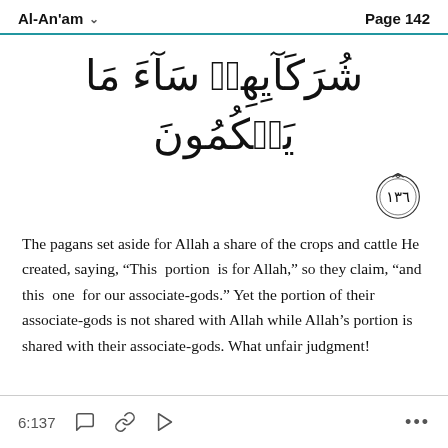Al-An'am   Page 142
شُرَكَآيِهِمۡ سَآءَ مَا يَحۡكُمُونَ
[Figure (illustration): Verse number badge showing ١٣٦ (136) in Arabic numerals inside a decorative circular ornament]
The pagans set aside for Allah a share of the crops and cattle He created, saying, “This portion is for Allah,” so they claim, “and this one for our associate-gods.” Yet the portion of their associate-gods is not shared with Allah while Allah’s portion is shared with their associate-gods. What unfair judgment!
6:137